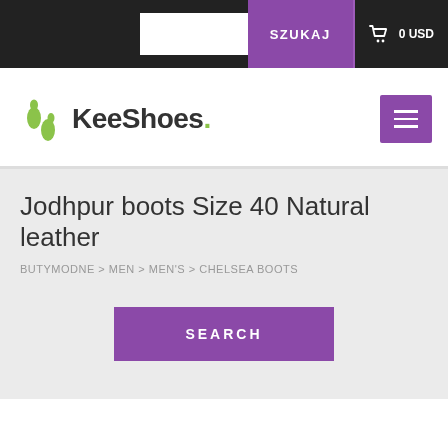SZUKAJ  0 USD
[Figure (logo): KeeShoes logo with green footprint icon and stylized text]
Jodhpur boots Size 40 Natural leather
BUTYMODNE > MEN > MEN'S > CHELSEA BOOTS
SEARCH